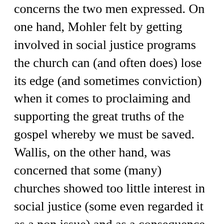concerns the two men expressed. On one hand, Mohler felt by getting involved in social justice programs the church can (and often does) lose its edge (and sometimes conviction) when it comes to proclaiming and supporting the great truths of the gospel whereby we must be saved. Wallis, on the other hand, was concerned that some (many) churches showed too little interest in social justice (some even regarded it as a non issue) and as a consequence have alienated a new generation of would be members by appearing to be irrelevant. Given that these days my links with the community at large involves